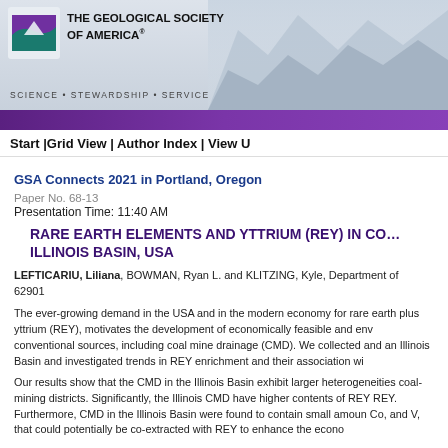[Figure (logo): The Geological Society of America logo with mountain/wave graphic, organization name, and tagline: SCIENCE • STEWARDSHIP • SERVICE]
Start |Grid View | Author Index | View U
GSA Connects 2021 in Portland, Oregon
Paper No. 68-13
Presentation Time: 11:40 AM
RARE EARTH ELEMENTS AND YTTRIUM (REY) IN CO... ILLINOIS BASIN, USA
LEFTICARIU, Liliana, BOWMAN, Ryan L. and KLITZING, Kyle, Department of... 62901
The ever-growing demand in the USA and in the modern economy for rare earth plus yttrium (REY), motivates the development of economically feasible and en conventional sources, including coal mine drainage (CMD). We collected and a Illinois Basin and investigated trends in REY enrichment and their association w
Our results show that the CMD in the Illinois Basin exhibit larger heterogeneities coal-mining districts. Significantly, the Illinois CMD have higher contents of REY. Furthermore, CMD in the Illinois Basin were found to contain small amou Co, and V, that could potentially be co-extracted with REY to enhance the econ